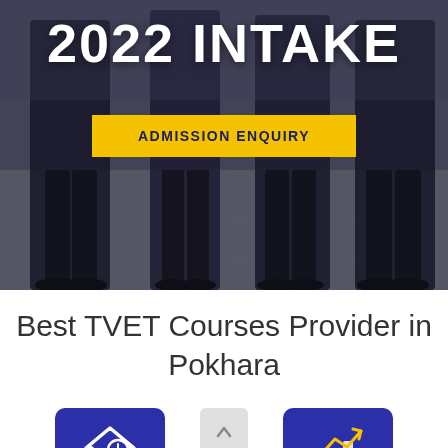[Figure (photo): Dark overlay photo of people in formal/uniform attire standing together, showing mainly torsos and legs from mid-section down. Used as hero background image.]
2022 INTAKE
ADMISSION ENQUIRY
Best TVET Courses Provider in Pokhara
[Figure (illustration): Blue rounded square icon with a house/home symbol and clock, representing residential or time-based courses.]
[Figure (illustration): Blue rounded square icon with an upward trending graph/arrow symbol, representing career growth or progress.]